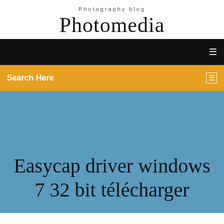Photography blog
Photomedia
[Figure (screenshot): Black navigation bar with small white icon on the right]
[Figure (screenshot): Orange/amber search bar with 'Search Here' label and small icon on right]
Easycap driver windows 7 32 bit télécharger